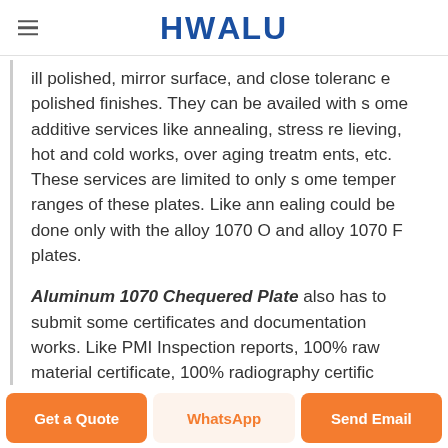HWALU
ill polished, mirror surface, and close tolerance polished finishes. They can be availed with some additive services like annealing, stress relieving, hot and cold works, over aging treatments, etc. These services are limited to only some temper ranges of these plates. Like annealing could be done only with the alloy 1070 O and alloy 1070 F plates.
Aluminum 1070 Chequered Plate also has to submit some certificates and documentation works. Like PMI Inspection reports, 100% raw material certificate, 100% radiography certific
Get a Quote | WhatsApp | Send Email